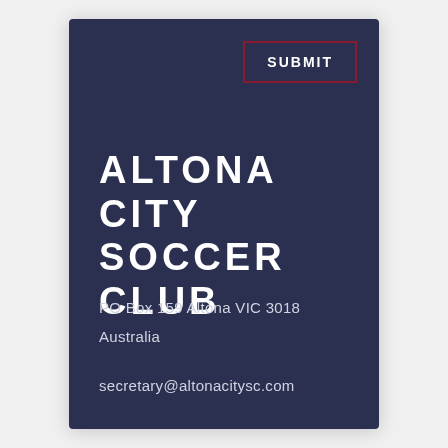[Figure (other): Submit button with dark red border in top-right corner of a dark navy card]
ALTONA CITY SOCCER CLUB
PO Box 159 Altona VIC 3018
Australia
secretary@altonacitysc.com